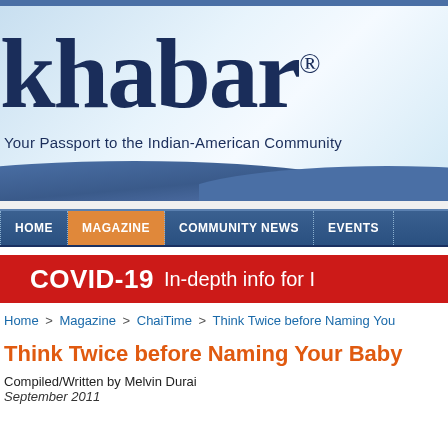[Figure (logo): Khabar magazine header banner with logo text 'khabar' in dark navy serif font, tagline 'Your Passport to the Indian-American Community', light blue gradient background with blue wave design at bottom]
HOME | MAGAZINE | COMMUNITY NEWS | EVENTS
[Figure (infographic): Red COVID-19 banner reading 'COVID-19 In-depth info for I...']
Home > Magazine > ChaiTime > Think Twice before Naming You
Think Twice before Naming Your Baby
Compiled/Written by Melvin Durai
September 2011